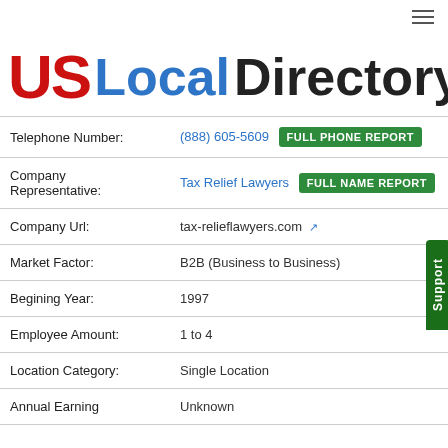[Figure (logo): US Local Directory logo with red 'US', blue 'Local', and black 'Directory' text]
| Field | Value |
| --- | --- |
| Telephone Number: | (888) 605-5609  FULL PHONE REPORT |
| Company Representative: | Tax Relief Lawyers  FULL NAME REPORT |
| Company Url: | tax-relieflawyers.com |
| Market Factor: | B2B (Business to Business) |
| Begining Year: | 1997 |
| Employee Amount: | 1 to 4 |
| Location Category: | Single Location |
| Annual Earning: | Unknown |